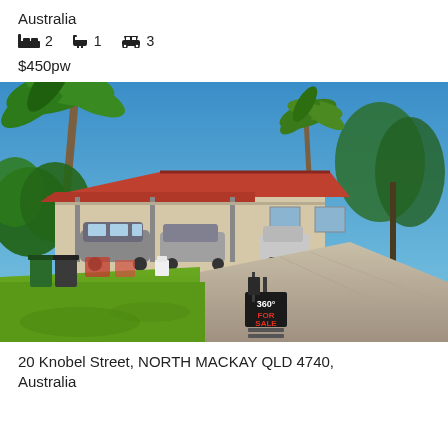Australia
2 bedrooms, 1 bathroom, 3 car spaces
$450pw
[Figure (photo): Exterior photo of a single-storey house with red tile roof, carport with multiple vehicles parked, surrounded by palm trees and tropical vegetation, green lawn in foreground with a 360 FOR SALE sign, and a driveway on the right. Blue sky in background.]
20 Knobel Street, NORTH MACKAY QLD 4740, Australia